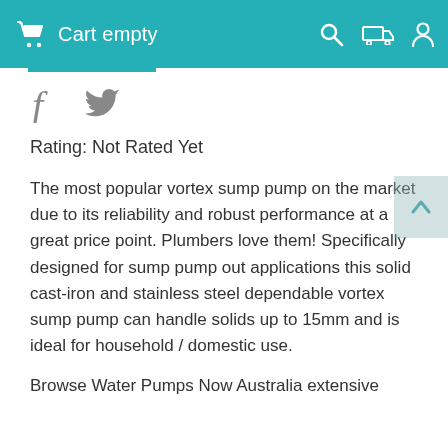Cart empty
[Figure (other): Social media icons: Facebook (f) and Twitter (bird)]
Rating: Not Rated Yet
The most popular vortex sump pump on the market due to its reliability and robust performance at a great price point. Plumbers love them! Specifically designed for sump pump out applications this solid cast-iron and stainless steel dependable vortex sump pump can handle solids up to 15mm and is ideal for household / domestic use.
Browse Water Pumps Now Australia extensive